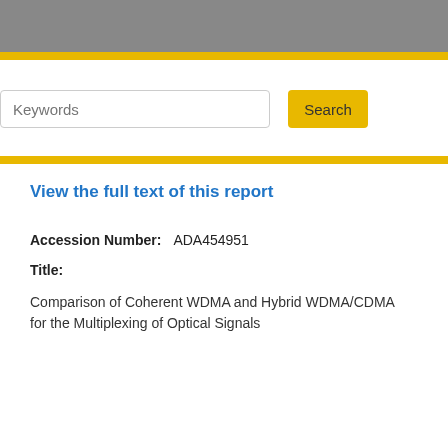[Figure (screenshot): Gray navigation header bar at top of webpage]
Keywords
Search
View the full text of this report
Accession Number:   ADA454951
Title:
Comparison of Coherent WDMA and Hybrid WDMA/CDMA for the Multiplexing of Optical Signals